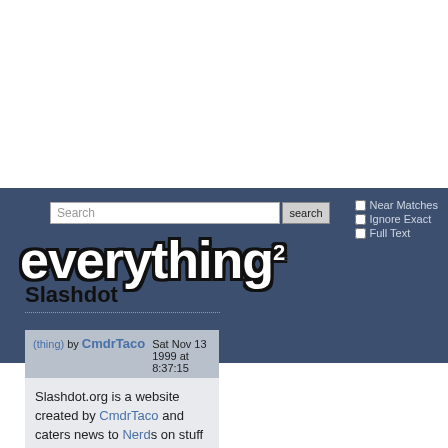[Figure (screenshot): Everything2 website header with search bar and logo]
Slashdot
(thing) by CmdrTaco  Sat Nov 13 1999 at 8:37:15
Slashdot.org is a website created by CmdrTaco and caters news to Nerds on stuff that matters. Stuff like Linux Unix and Computers